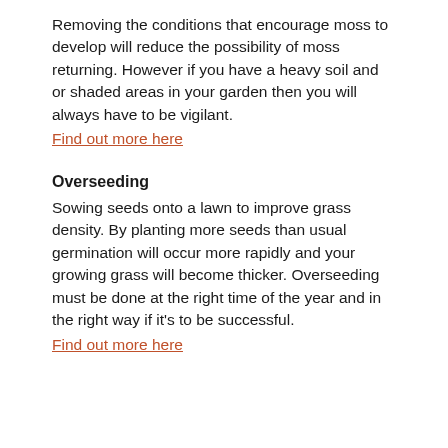Removing the conditions that encourage moss to develop will reduce the possibility of moss returning. However if you have a heavy soil and or shaded areas in your garden then you will always have to be vigilant.
Find out more here
Overseeding
Sowing seeds onto a lawn to improve grass density. By planting more seeds than usual germination will occur more rapidly and your growing grass will become thicker. Overseeding must be done at the right time of the year and in the right way if it's to be successful.
Find out more here